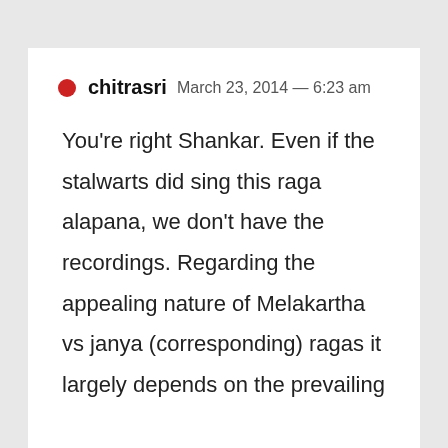chitrasri  March 23, 2014 — 6:23 am
You're right Shankar. Even if the stalwarts did sing this raga alapana, we don't have the recordings. Regarding the appealing nature of Melakartha vs janya (corresponding) ragas it largely depends on the prevailing